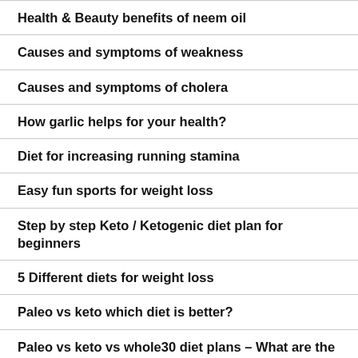Health & Beauty benefits of neem oil
Causes and symptoms of weakness
Causes and symptoms of cholera
How garlic helps for your health?
Diet for increasing running stamina
Easy fun sports for weight loss
Step by step Keto / Ketogenic diet plan for beginners
5 Different diets for weight loss
Paleo vs keto which diet is better?
Paleo vs keto vs whole30 diet plans – What are the